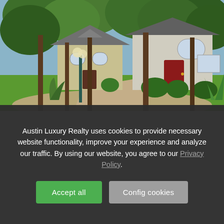[Figure (photo): Exterior photo of a luxury residential home with tall trees, green lawn, gravel landscaping, ornamental street lamp, and red front door. Blue sky visible through tree canopy.]
Austin Luxury Realty uses cookies to provide necessary website functionality, improve your experience and analyze our traffic. By using our website, you agree to our Privacy Policy.
Accept all
Config cookies